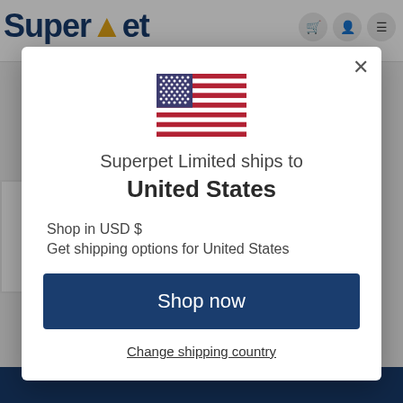[Figure (screenshot): Website header with Superpet logo in dark blue and gold, cart/user/menu icons on right]
[Figure (screenshot): Social media sidebar with Facebook and Instagram icons in blue circles with gold borders]
[Figure (illustration): US flag emoji/icon centered at top of modal]
Superpet Limited ships to
United States
Shop in USD $
Get shipping options for United States
Shop now
Change shipping country